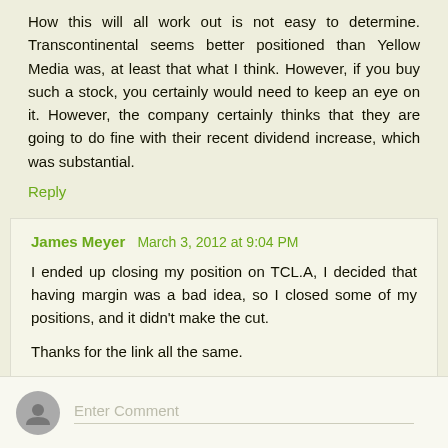How this will all work out is not easy to determine. Transcontinental seems better positioned than Yellow Media was, at least that what I think. However, if you buy such a stock, you certainly would need to keep an eye on it. However, the company certainly thinks that they are going to do fine with their recent dividend increase, which was substantial.
Reply
James Meyer  March 3, 2012 at 9:04 PM
I ended up closing my position on TCL.A, I decided that having margin was a bad idea, so I closed some of my positions, and it didn't make the cut.
Thanks for the link all the same.
Reply
Enter Comment